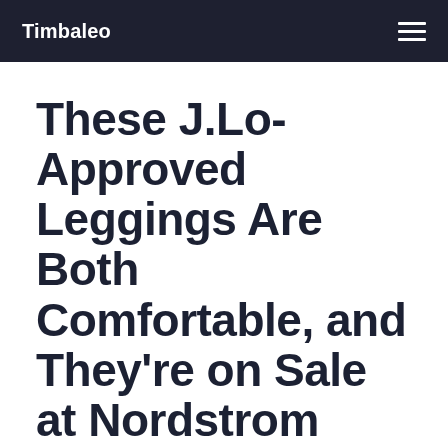Timbaleo
These J.Lo-Approved Leggings Are Both Comfortable, and They're on Sale at Nordstrom Right Now
PUBLISHED IN:
Fashion